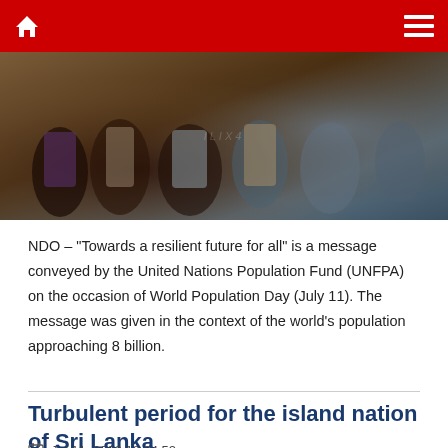[Figure (photo): People sitting together, close-up of lower bodies showing clothing and hands]
NDO – "Towards a resilient future for all" is a message conveyed by the United Nations Population Fund (UNFPA) on the occasion of World Population Day (July 11). The message was given in the context of the world's population approaching 8 billion.
Turbulent period for the island nation of Sri Lanka
Jul 11, 2022 18:24:52
[Figure (photo): Exterior of a colonial-era government building in Sri Lanka with ornate architectural details]